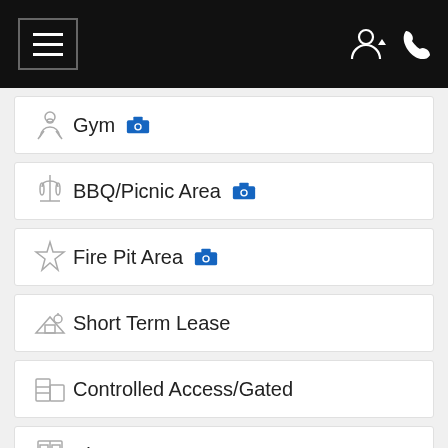Navigation header with menu and icons
Gym
BBQ/Picnic Area
Fire Pit Area
Short Term Lease
Controlled Access/Gated
Elevator
Carport